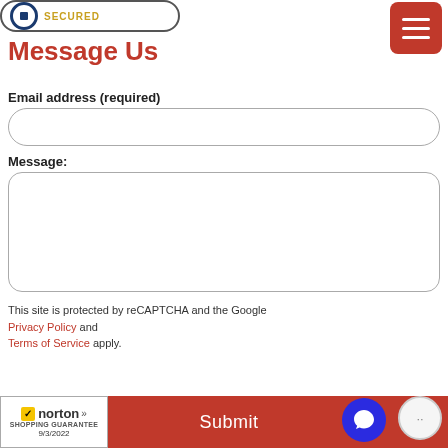[Figure (logo): Secured badge with lock icon and 'SECURED' text in gold]
Message Us
[Figure (other): Red hamburger menu button with three white lines]
Email address (required)
[Figure (other): Rounded rectangle input field for email address]
Message:
[Figure (other): Rounded rectangle textarea for message]
This site is protected by reCAPTCHA and the Google Privacy Policy and Terms of Service apply.
[Figure (logo): Norton Shopping Guarantee badge dated 9/3/2022]
[Figure (other): Red Submit button bar at the bottom]
[Figure (other): Blue circular chat button]
[Figure (other): Gray circular dots button]